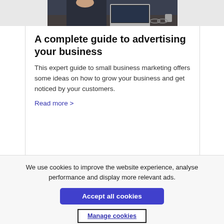[Figure (photo): Partial photo of a person working at a laptop on a desk, cropped to show only the top portion]
A complete guide to advertising your business
This expert guide to small business marketing offers some ideas on how to grow your business and get noticed by your customers.
Read more >
We use cookies to improve the website experience, analyse performance and display more relevant ads.
Accept all cookies
Manage cookies